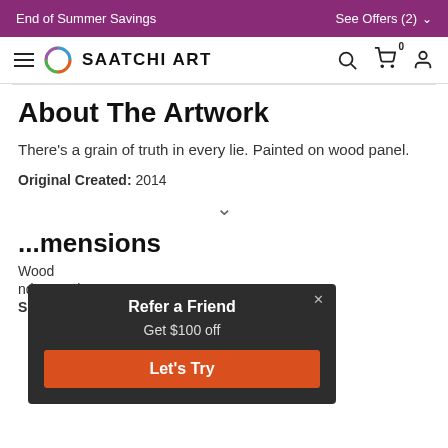End of Summer Savings   See Offers (2)
[Figure (logo): Saatchi Art logo with circular icon and navigation icons (search, cart, user)]
About The Artwork
There's a grain of truth in every lie. Painted on wood panel.
Original Created: 2014
...mensions
Wood
nd Artwork
Size: 20 W x 20 H x 1.5 D in
[Figure (infographic): Popup overlay: Refer a Friend - Get $100 off - Let's Try button]